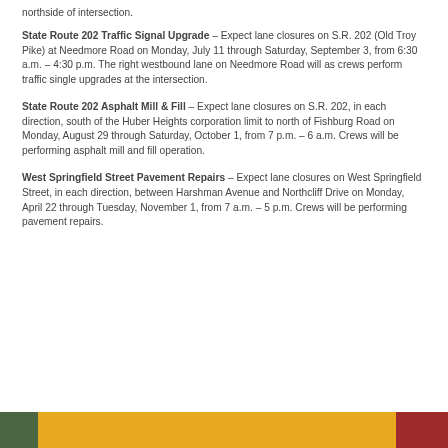northside of intersection.
State Route 202 Traffic Signal Upgrade – Expect lane closures on S.R. 202 (Old Troy Pike) at Needmore Road on Monday, July 11 through Saturday, September 3, from 6:30 a.m. – 4:30 p.m. The right westbound lane on Needmore Road will as crews perform traffic single upgrades at the intersection.
State Route 202 Asphalt Mill & Fill – Expect lane closures on S.R. 202, in each direction, south of the Huber Heights corporation limit to north of Fishburg Road on Monday, August 29 through Saturday, October 1, from 7 p.m. – 6 a.m. Crews will be performing asphalt mill and fill operation.
West Springfield Street Pavement Repairs – Expect lane closures on West Springfield Street, in each direction, between Harshman Avenue and Northcliff Drive on Monday, April 22 through Tuesday, November 1, from 7 a.m. – 5 p.m. Crews will be performing pavement repairs.